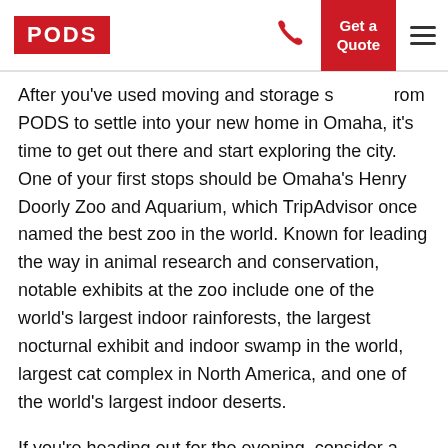PODS | Get a Quote
After you've used moving and storage services from PODS to settle into your new home in Omaha, it's time to get out there and start exploring the city. One of your first stops should be Omaha's Henry Doorly Zoo and Aquarium, which TripAdvisor once named the best zoo in the world. Known for leading the way in animal research and conservation, notable exhibits at the zoo include one of the world's largest indoor rainforests, the largest nocturnal exhibit and indoor swamp in the world, largest cat complex in North America, and one of the world's largest indoor deserts.
If you're heading out for the evening, consider a stroll through Heartland of America Park. This 32-acre public park in the heart of downtown has walking paths that encircle a lake with a computerized fountain that features a nighttime light show. You can also enjoy a